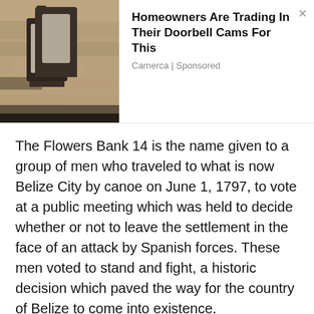[Figure (photo): Advertisement banner with a photo of an outdoor wall-mounted lantern on a stone wall on the left, and ad text on the right.]
Homeowners Are Trading In Their Doorbell Cams For This
Camerca | Sponsored
The Flowers Bank 14 is the name given to a group of men who traveled to what is now Belize City by canoe on June 1, 1797, to vote at a public meeting which was held to decide whether or not to leave the settlement in the face of an attack by Spanish forces. These men voted to stand and fight, a historic decision which paved the way for the country of Belize to come into existence.
There is a monument erected in Flowers Bank village in honor of the 14. For more than 10 years, the community has an annual cultural festival where, among other things, the Flowers